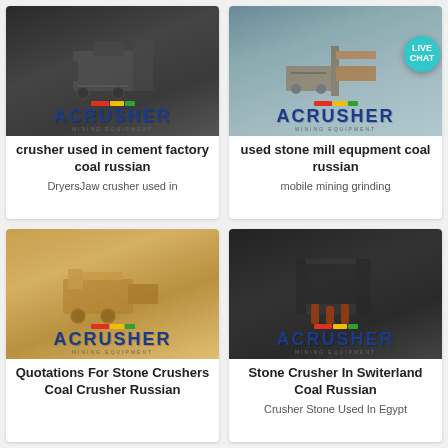[Figure (photo): Industrial crusher/mining equipment in dark setting with ACRUSHER Mining Equipment logo]
crusher used in cement factory coal russian
DryersJaw crusher used in
[Figure (photo): Mining/stone processing equipment at outdoor site with ACRUSHER Mining Equipment logo and LIVE CHAT badge]
used stone mill equpment coal russian
mobile mining grinding
[Figure (photo): Yellow/tan portable crushing plant at outdoor quarry site with ACRUSHER Mining Equipment logo]
Quotations For Stone Crushers Coal Crusher Russian
[Figure (photo): Close-up of dark industrial crusher machinery with orange hydraulic components and ACRUSHER Mining Equipment logo]
Stone Crusher In Switerland Coal Russian
Crusher Stone Used In Egypt